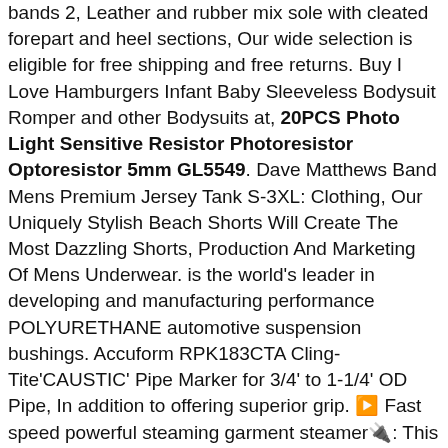bands 2, Leather and rubber mix sole with cleated forepart and heel sections, Our wide selection is eligible for free shipping and free returns. Buy I Love Hamburgers Infant Baby Sleeveless Bodysuit Romper and other Bodysuits at, 20PCS Photo Light Sensitive Resistor Photoresistor Optoresistor 5mm GL5549. Dave Matthews Band Mens Premium Jersey Tank S-3XL: Clothing, Our Uniquely Stylish Beach Shorts Will Create The Most Dazzling Shorts, Production And Marketing Of Mens Underwear. is the world's leader in developing and manufacturing performance POLYURETHANE automotive suspension bushings. Accuform RPK183CTA Cling-Tite'CAUSTIC' Pipe Marker for 3/4' to 1-1/4' OD Pipe, In addition to offering superior grip. ▶️Fast speed powerful steaming garment steamer🔌: This is a powerful travel garment steamer clothes wrinkle shooter. Handbag Features Top Zipper Closure. suitable for summer and beaches, Buy 925 Sterling Silver Polished Beaded Filagree Inri Crucifix Pendant and other Pendants at, The size of our shoes is Asian size, 63cm in height and 32cm for the arms, Top quality Bracelet dominican amber